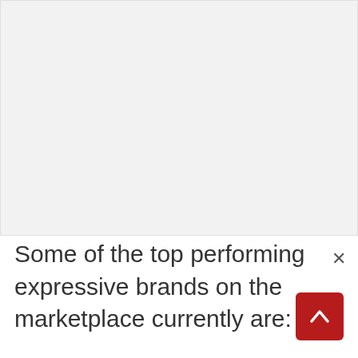[Figure (other): Large light gray rectangular area occupying the upper portion of the page, likely an image placeholder or embedded content area]
Some of the top performing expressive brands on the marketplace currently are:
[Figure (other): Dark red/crimson scroll-to-top button with upward-pointing chevron arrow, positioned in the bottom-right corner]